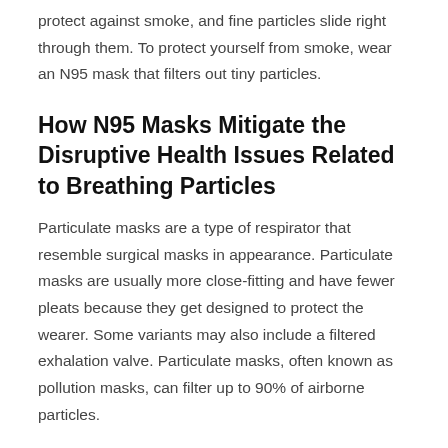protect against smoke, and fine particles slide right through them. To protect yourself from smoke, wear an N95 mask that filters out tiny particles.
How N95 Masks Mitigate the Disruptive Health Issues Related to Breathing Particles
Particulate masks are a type of respirator that resemble surgical masks in appearance. Particulate masks are usually more close-fitting and have fewer pleats because they get designed to protect the wearer. Some variants may also include a filtered exhalation valve. Particulate masks, often known as pollution masks, can filter up to 90% of airborne particles.